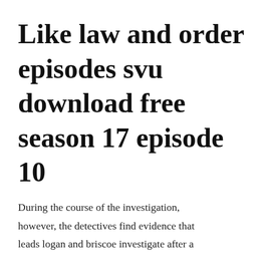Like law and order episodes svu download free season 17 episode 10
During the course of the investigation, however, the detectives find evidence that leads logan and briscoe investigate after a